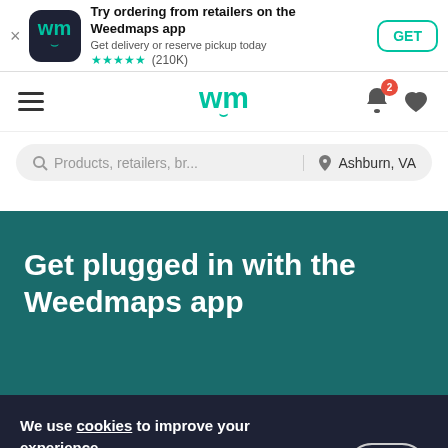[Figure (screenshot): Weedmaps app install banner with icon, title 'Try ordering from retailers on the Weedmaps app', subtitle 'Get delivery or reserve pickup today', star rating (210K reviews), and GET button]
[Figure (screenshot): Weedmaps navigation bar with hamburger menu, 'wm' logo with smile, bell icon with badge '2', and heart icon]
[Figure (screenshot): Search bar showing 'Products, retailers, br...' placeholder and 'Ashburn, VA' location]
Get plugged in with the Weedmaps app
We use cookies to improve your experience
By continuing you agree to our privacy policy and terms of use